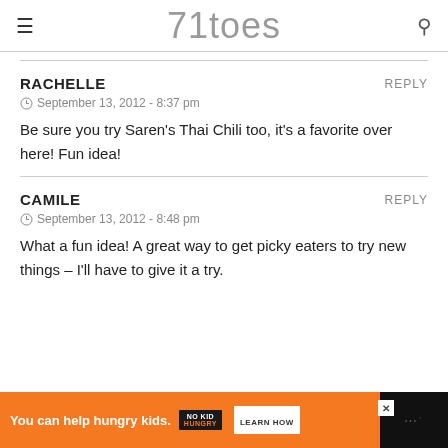71toes
RACHELLE
September 13, 2012 - 8:37 pm
Be sure you try Saren's Thai Chili too, it's a favorite over here! Fun idea!
CAMILE
September 13, 2012 - 8:48 pm
What a fun idea! A great way to get picky eaters to try new things – I'll have to give it a try.
[Figure (infographic): Orange advertisement bar: 'You can help hungry kids. NO KID HUNGRY LEARN HOW' with close button and dark right panel]